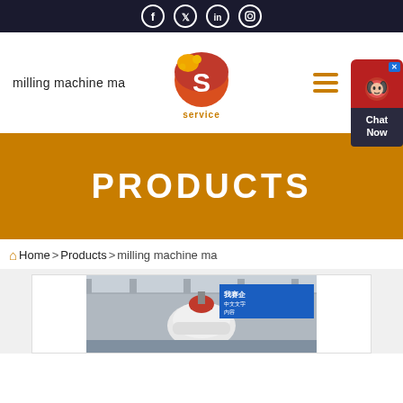Social media icons: Facebook, Twitter, LinkedIn, Instagram
[Figure (logo): Orange and red circular logo with letter S and text 'service' below]
milling machine ma
[Figure (infographic): Hamburger menu icon (three orange horizontal lines)]
[Figure (infographic): Chat widget with headset icon and 'Chat Now' text]
PRODUCTS
Home > Products > milling machine ma
[Figure (photo): Industrial milling machine in a factory with Chinese text banner in background]